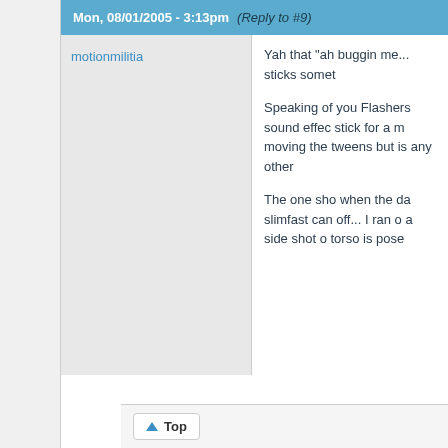Mon, 08/01/2005 - 3:13pm  (Reply to #9)
motionmilitia
Yah that "ah buggin me... sticks somet

Speaking of you Flashers sound effec stick for a m moving the tweens but is any other

The one sho when the da slimfast can off... I ran o a side shot o torso is pose
Top   Log